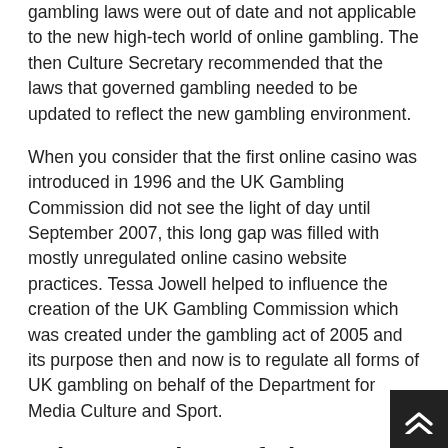gambling laws were out of date and not applicable to the new high-tech world of online gambling. The then Culture Secretary recommended that the laws that governed gambling needed to be updated to reflect the new gambling environment.
When you consider that the first online casino was introduced in 1996 and the UK Gambling Commission did not see the light of day until September 2007, this long gap was filled with mostly unregulated online casino website practices. Tessa Jowell helped to influence the creation of the UK Gambling Commission which was created under the gambling act of 2005 and its purpose then and now is to regulate all forms of UK gambling on behalf of the Department for Media Culture and Sport.
Other Functions Of The UK Gambling Commission